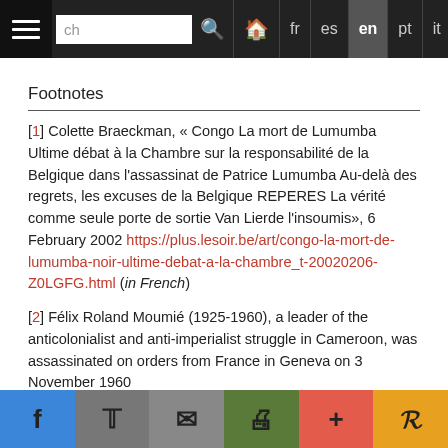Navigation bar with hamburger menu, search box, language links: fr, es, en (active), pt, it, de, Arabic
Footnotes
[1] Colette Braeckman, « Congo La mort de Lumumba Ultime débat à la Chambre sur la responsabilité de la Belgique dans l'assassinat de Patrice Lumumba Au-delà des regrets, les excuses de la Belgique REPERES La vérité comme seule porte de sortie Van Lierde l'insoumis», 6 February 2002 https://plus.lesoir.be/art/congo-la-mort-de-lumumba-noir-ultime-debat-a-la-chambre_t-20020206-Z0LGFG.html (in French)
[2] Félix Roland Moumié (1925-1960), a leader of the anticolonialist and anti-imperialist struggle in Cameroon, was assassinated on orders from France in Geneva on 3 November 1960.
Social sharing bar: Facebook, Twitter, Email, Print, Plus, Pocket